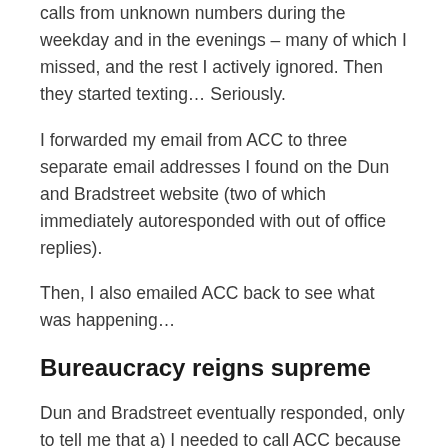calls from unknown numbers during the weekday and in the evenings – many of which I missed, and the rest I actively ignored. Then they started texting… Seriously.
I forwarded my email from ACC to three separate email addresses I found on the Dun and Bradstreet website (two of which immediately autoresponded with out of office replies).
Then, I also emailed ACC back to see what was happening…
Bureaucracy reigns supreme
Dun and Bradstreet eventually responded, only to tell me that a) I needed to call ACC because b) they had just spoken to their contact at ACC, who had said there was no intention to withdraw the invoice and c) it remained outstanding at this stage.